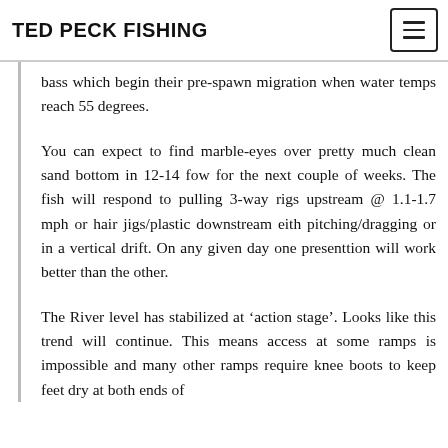TED PECK FISHING
bass which begin their pre-spawn migration when water temps reach 55 degrees.
You can expect to find marble-eyes over pretty much clean sand bottom in 12-14 fow for the next couple of weeks. The fish will respond to pulling 3-way rigs upstream @ 1.1-1.7 mph or hair jigs/plastic downstream eith pitching/dragging or in a vertical drift. On any given day one presenttion will work better than the other.
The River level has stabilized at ‘action stage’. Looks like this trend will continue. This means access at some ramps is impossible and many other ramps require knee boots to keep feet dry at both ends of